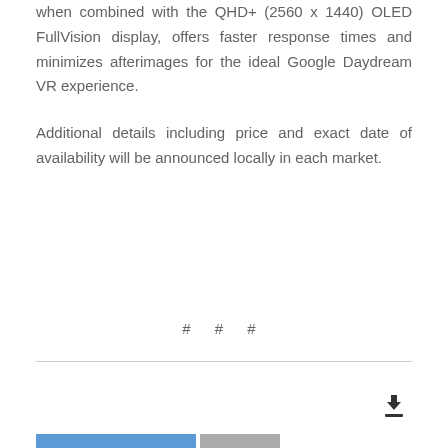when combined with the QHD+ (2560 x 1440) OLED FullVision display, offers faster response times and minimizes afterimages for the ideal Google Daydream VR experience.
Additional details including price and exact date of availability will be announced locally in each market.
# # #